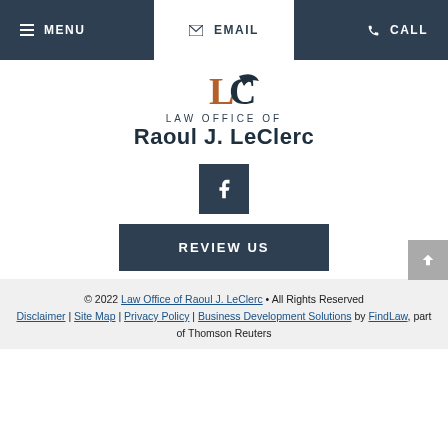MENU | EMAIL | CALL
[Figure (logo): Law Office of Raoul J. LeClerc logo with stylized initials in brown/orange and dark blue]
LAW OFFICE OF Raoul J. LeClerc
[Figure (illustration): Facebook social media icon button (white 'f' on dark blue square background)]
REVIEW US
© 2022 Law Office of Raoul J. LeClerc • All Rights Reserved Disclaimer | Site Map | Privacy Policy | Business Development Solutions by FindLaw, part of Thomson Reuters